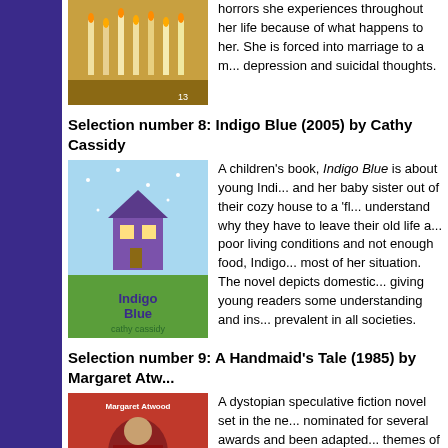[Figure (photo): Book cover showing candles - top of page, partially visible]
horrors she experiences throughout her life because of what happens to her. She is forced into marriage to a m... depression and suicidal thoughts.
Selection number 8: Indigo Blue (2005) by Cathy Cassidy
[Figure (photo): Book cover of Indigo Blue by Cathy Cassidy - light blue cover with illustrated house and the text Indigo Blue / cathy cassidy]
A children's book, Indigo Blue is about young Indi... and her baby sister out of their cozy house to a 'fl... understand why they have to leave their old life a... poor living conditions and not enough food, Indigo... most of her situation. The novel depicts domestic... giving young readers some understanding and ins... prevalent in all societies.
Selection number 9: A Handmaid's Tale (1985) by Margaret Atw...
[Figure (photo): Book cover of The Handmaid's Tale by Margaret Atwood - red cover with illustrated figure]
A dystopian speculative fiction novel set in the ne... nominated for several awards and been adapted... themes of the subjugation of women, it tells the s... is a handmaid, part of the class of women whose... people are divided and distinguished by sex, occu... ...that this division ambition to be denied the...